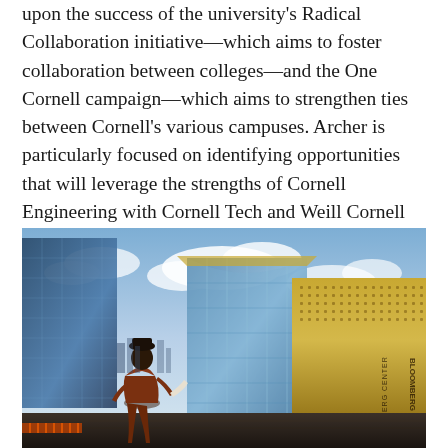upon the success of the university's Radical Collaboration initiative—which aims to foster collaboration between colleges—and the One Cornell campaign—which aims to strengthen ties between Cornell's various campuses. Archer is particularly focused on identifying opportunities that will leverage the strengths of Cornell Engineering with Cornell Tech and Weill Cornell Medicine, both of which are based in New York City.
[Figure (photo): Exterior photo of Cornell Tech campus in New York City. A person in a long brown coat walks toward modern glass and gold-paneled buildings under a partly cloudy sky. The building on the right has a perforated gold facade with text reading 'BLOOMBERG CENTER'.]